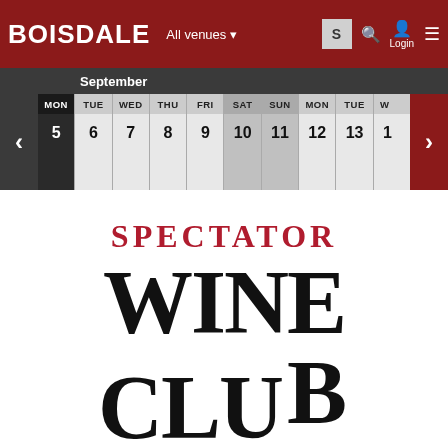BOISDALE | All venues | Login
September
| MON | TUE | WED | THU | FRI | SAT | SUN | MON | TUE | WED |
| --- | --- | --- | --- | --- | --- | --- | --- | --- | --- |
| 5 | 6 | 7 | 8 | 9 | 10 | 11 | 12 | 13 | 14 |
[Figure (illustration): Spectator Wine Club logo with large black serif text on white background]